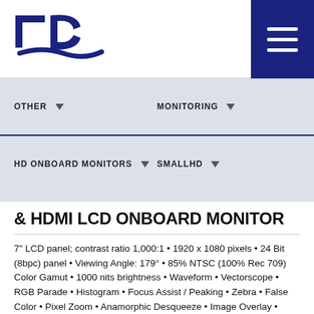[Figure (logo): TCS logo — blue stylized letters T, C, S with curved underline]
[Figure (other): Hamburger menu icon (three white horizontal lines on dark blue background)]
OTHER
MONITORING
HD ONBOARD MONITORS
SMALLHD
& HDMI LCD ONBOARD MONITOR
7" LCD panel; contrast ratio 1,000:1 • 1920 x 1080 pixels • 24 Bit (8bpc) panel • Viewing Angle: 179° • 85% NTSC (100% Rec 709) Color Gamut • 1000 nits brightness • Waveform • Vectorscope • RGB Parade • Histogram • Focus Assist / Peaking • Zebra • False Color • Pixel Zoom • Anamorphic Desqueeze • Image Overlay • Image Flip • Audio Level meter Display